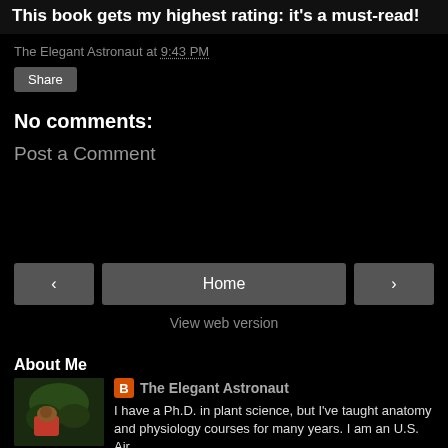This book gets my highest rating: it's a must-read!
The Elegant Astronaut at 9:43 PM
Share
No comments:
Post a Comment
‹  Home  ›
View web version
About Me
The Elegant Astronaut
I have a Ph.D. in plant science, but I've taught anatomy and physiology courses for many years. I am an U.S. Air